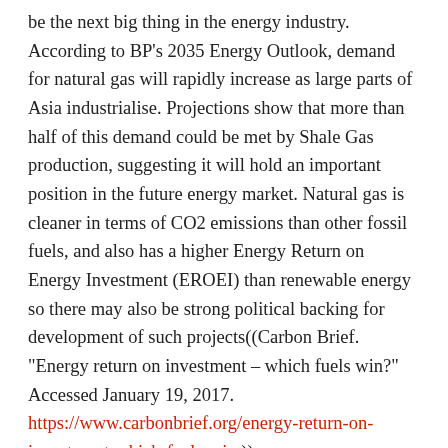be the next big thing in the energy industry. According to BP's 2035 Energy Outlook, demand for natural gas will rapidly increase as large parts of Asia industrialise. Projections show that more than half of this demand could be met by Shale Gas production, suggesting it will hold an important position in the future energy market. Natural gas is cleaner in terms of CO2 emissions than other fossil fuels, and also has a higher Energy Return on Energy Investment (EROEI) than renewable energy so there may also be strong political backing for development of such projects((Carbon Brief. "Energy return on investment – which fuels win?" Accessed January 19, 2017. https://www.carbonbrief.org/energy-return-on-investment-which-fuels-win )).
As we become more dependent on natural gas as a means of energy production super-majors like BP will be able to invest new Shale Gas production technologies that address the associated environmental, economic and social concerns